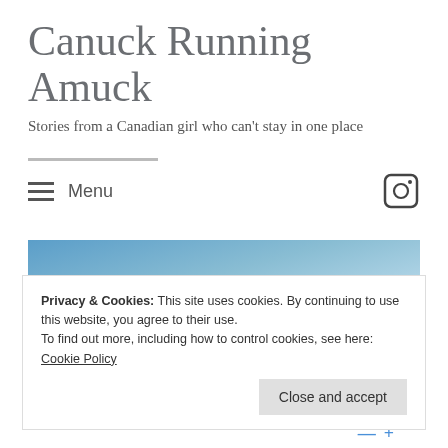Canuck Running Amuck
Stories from a Canadian girl who can't stay in one place
Menu
[Figure (photo): Blue sky hero image banner]
Privacy & Cookies: This site uses cookies. By continuing to use this website, you agree to their use.
To find out more, including how to control cookies, see here: Cookie Policy
Close and accept